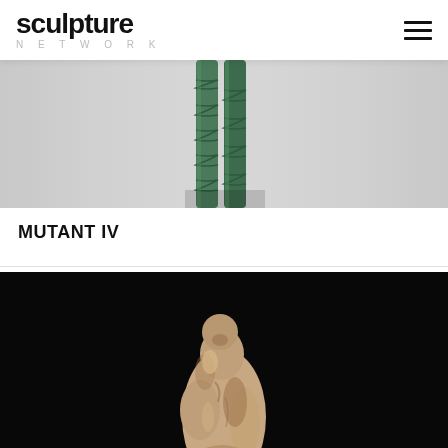sculpture NETWORK
[Figure (photo): Close-up of bronze sculpture legs/lower body with green patina against grey background, partially cropped at top]
MUTANT IV
[Figure (photo): Organic stone or clay sculpture resembling a human torso/figure, beige/tan colored, photographed against solid black background]